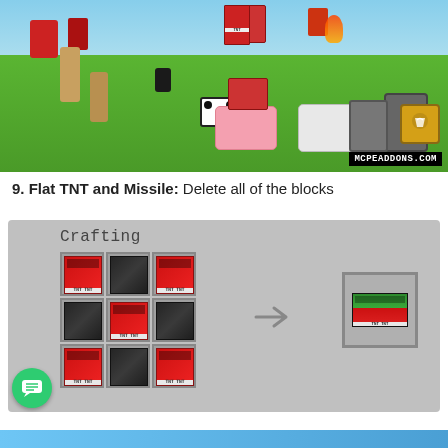[Figure (screenshot): Minecraft game screenshot showing various mobs (panda, pig, polar bear, llamas, red creatures, TNT character) on a grassy area with MCPEADDONS.COM watermark]
9. Flat TNT and Missile: Delete all of the blocks
[Figure (screenshot): Minecraft crafting recipe screenshot showing a 3x3 grid with TNT blocks and coal/gunpowder blocks producing a flat green TNT block. Number 2 shown on left side. Chat button (green circle with message icon) in bottom left.]